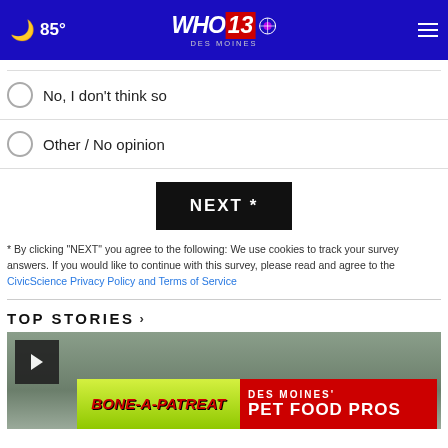85° | WHO 13 DES MOINES | NBC
No, I don't think so
Other / No opinion
NEXT *
* By clicking "NEXT" you agree to the following: We use cookies to track your survey answers. If you would like to continue with this survey, please read and agree to the CivicScience Privacy Policy and Terms of Service
TOP STORIES ›
[Figure (screenshot): Video thumbnail showing outdoor scene with play button overlay and BONE-A-PATREAT DES MOINES' PET FOOD PROS advertisement banner at bottom]